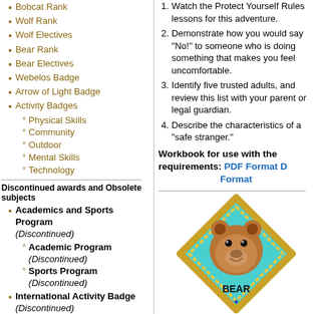Bobcat Rank
Wolf Rank
Wolf Electives
Bear Rank
Bear Electives
Webelos Badge
Arrow of Light Badge
Activity Badges
Physical Skills
Community
Outdoor
Mental Skills
Technology
Discontinued awards and Obsolete subjects
Academics and Sports Program (Discontinued)
Academic Program (Discontinued)
Sports Program (Discontinued)
International Activity Badge (Discontinued)
Leave No Trace Awareness (Discontinued)
Outdoor Ethics Awareness Award (Discontinued)
Outdoor Ethics Action Award (Discontinued)
Watch the Protect Yourself Rules lessons for this adventure.
Demonstrate how you would say "No!" to someone who is doing something that makes you feel uncomfortable.
Identify five trusted adults, and review this list with your parent or legal guardian.
Describe the characteristics of a "safe stranger."
Workbook for use with these requirements: PDF Format Doc Format
[Figure (illustration): Bear Cub Scout badge - a diamond shaped badge with a bear face in the center on a teal/turquoise background with gold border, text BEAR at bottom]
BEAR REQUIREMENTS